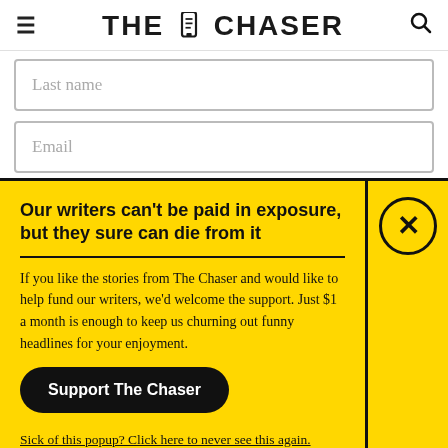THE CHASER
Last name
Email
Our writers can't be paid in exposure, but they sure can die from it
If you like the stories from The Chaser and would like to help fund our writers, we'd welcome the support. Just $1 a month is enough to keep us churning out funny headlines for your enjoyment.
Support The Chaser
Sick of this popup? Click here to never see this again.